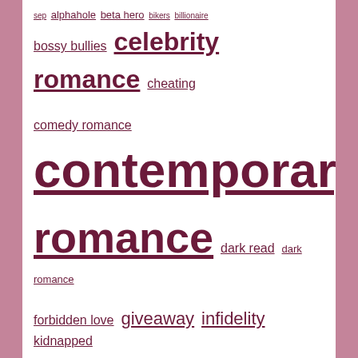bossy bullies celebrity romance cheating comedy romance contemporary romance dark read dark romance forbidden love giveaway infidelity kidnapped love triangle mafia marital strife men in uniform motorcycle club new adult paranormal romance pregnancy psych-thriller psychological thriller reader favorites reader question reader recommendations rock stars second chance romance shifters solved sports stars super-angsty unrequited love unsolved